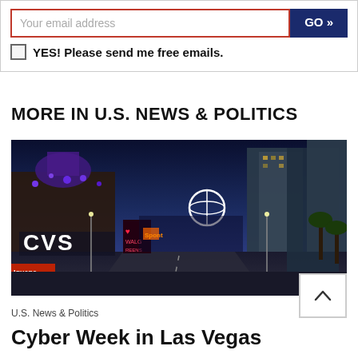Your email address
GO »
YES! Please send me free emails.
MORE IN U.S. NEWS & POLITICS
[Figure (photo): Night photo of the Las Vegas Strip showing empty road, CVS sign, neon lights, palm trees, and high-rise buildings lit up at dusk]
U.S. News & Politics
Cyber Week in Las Vegas